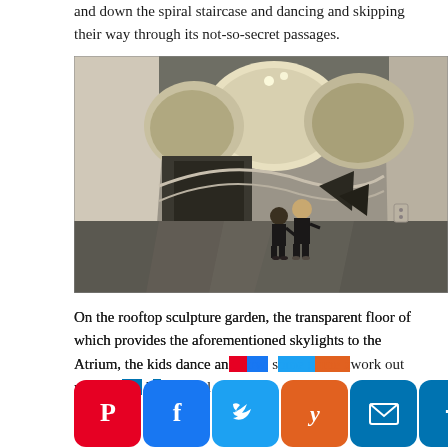and down the spiral staircase and dancing and skipping their way through its not-so-secret passages.
[Figure (photo): Two children standing inside a dramatic curved concrete architectural space with flowing organic openings and passages. The interior has raw concrete walls, a dark polished floor, and large curvilinear cutouts leading to deeper corridors.]
On the rooftop sculpture garden, the transparent floor of which provides the aforementioned skylights to the Atrium, the kids dance an... h... s... g... a... work out which d... h... n... l-... m... al...
[Figure (infographic): Social sharing bar with buttons: Pinterest (red), Facebook (blue), Twitter (light blue), Yummly (orange), Email (dark blue), More/Plus (dark blue)]